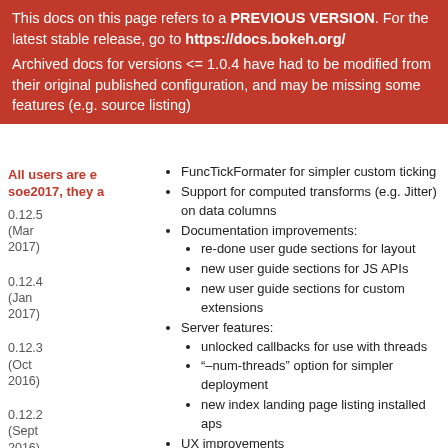This docs on this page refers to a PREVIOUS VERSION. For the latest stable release, go to https://docs.bokeh.org/
Archived docs for versions <= 1.0.4 have had to be modified from their original published configuration, and may be missing some features (e.g. source listing)
All users are encouraged to…2017,
0.12.5 (Mar 2017)
0.12.4 (Jan 2017)
0.12.3 (Oct 2016)
0.12.2 (Sept 2016)
0.12.1 (Jul 2016)
FuncTickFormater for simpler custom ticking
Support for computed transforms (e.g. Jitter) on data columns
Documentation improvements:
re-done user gude sections for layout
new user guide sections for JS APIs
new user guide sections for custom extensions
Server features:
unlocked callbacks for use with threads
“–num-threads” option for simpler deployment
new index landing page listing installed aps
UX improvements
toolbar moved to the right, and made sticky, by default
left aligned title, closer in, by default
smaller, italic axes labels
New hosted demos at https://demo.bokeh.org